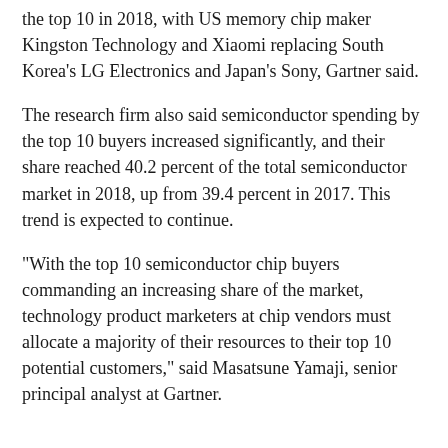the top 10 in 2018, with US memory chip maker Kingston Technology and Xiaomi replacing South Korea's LG Electronics and Japan's Sony, Gartner said.
The research firm also said semiconductor spending by the top 10 buyers increased significantly, and their share reached 40.2 percent of the total semiconductor market in 2018, up from 39.4 percent in 2017. This trend is expected to continue.
"With the top 10 semiconductor chip buyers commanding an increasing share of the market, technology product marketers at chip vendors must allocate a majority of their resources to their top 10 potential customers," said Masatsune Yamaji, senior principal analyst at Gartner.